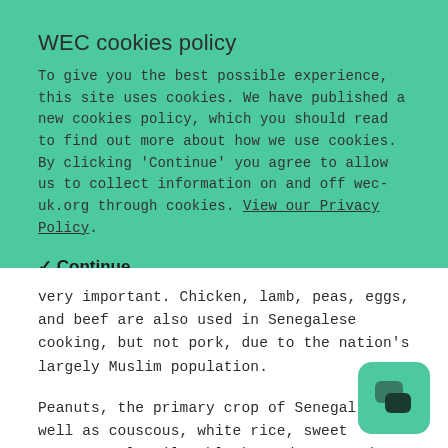WEC cookies policy
To give you the best possible experience, this site uses cookies. We have published a new cookies policy, which you should read to find out more about how we use cookies. By clicking 'Continue' you agree to allow us to collect information on and off wec-uk.org through cookies. View our Privacy Policy.
✔ Continue
very important. Chicken, lamb, peas, eggs, and beef are also used in Senegalese cooking, but not pork, due to the nation's largely Muslim population.
Peanuts, the primary crop of Senegal, as well as couscous, white rice, sweet potatoes, lentils, black-eyed peas and various vegetables, are also incorporated into many recipes.
[Figure (logo): Chat widget icon — teal rounded square with two overlapping chat bubble icons in dark color]